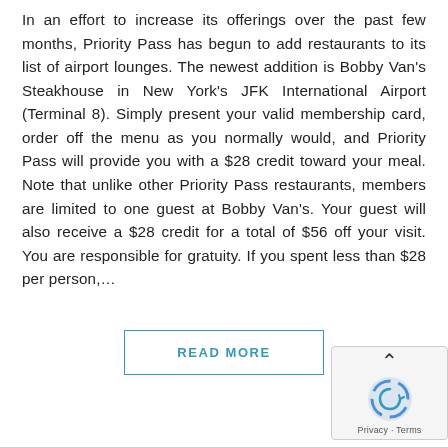In an effort to increase its offerings over the past few months, Priority Pass has begun to add restaurants to its list of airport lounges. The newest addition is Bobby Van's Steakhouse in New York's JFK International Airport (Terminal 8). Simply present your valid membership card, order off the menu as you normally would, and Priority Pass will provide you with a $28 credit toward your meal. Note that unlike other Priority Pass restaurants, members are limited to one guest at Bobby Van's. Your guest will also receive a $28 credit for a total of $56 off your visit. You are responsible for gratuity. If you spent less than $28 per person,...
READ MORE
[Figure (other): reCAPTCHA widget with upward arrow chevron and Google reCAPTCHA logo, Privacy/Terms text at bottom]